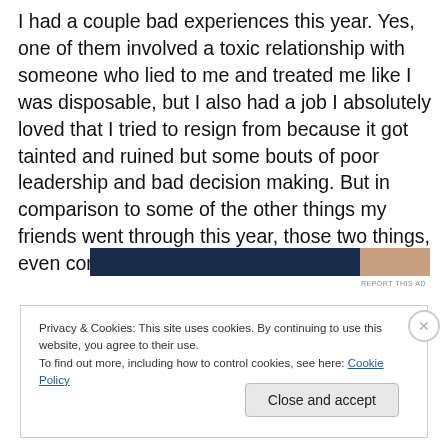I had a couple bad experiences this year. Yes, one of them involved a toxic relationship with someone who lied to me and treated me like I  was disposable, but I also had a job I absolutely loved that I tried to resign from because it got tainted and ruined but some bouts of poor leadership and bad decision making. But in comparison to some of the other things my friends went through this year, those two things, even combined, seem so insignificant.
[Figure (other): Advertisement banner with dark navy left section and skin-tone right section]
REPORT THIS AD
Privacy & Cookies: This site uses cookies. By continuing to use this website, you agree to their use.
To find out more, including how to control cookies, see here: Cookie Policy
Close and accept